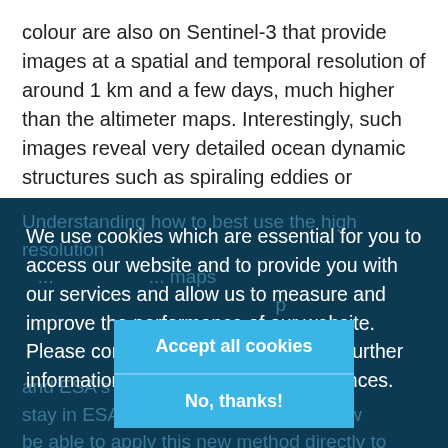colour are also on Sentinel-3 that provide images at a spatial and temporal resolution of around 1 km and a few days, much higher than the altimeter maps. Interestingly, such images reveal very detailed ocean dynamic structures such as spiraling eddies or filaments, the shapes of which result partly from the advection of ocean currents.
We use cookies which are essential for you to access our website and to provide you with our services and allow us to measure and improve the performance of our website. Please consult our Cookie Notice for further information or to change your preferences.